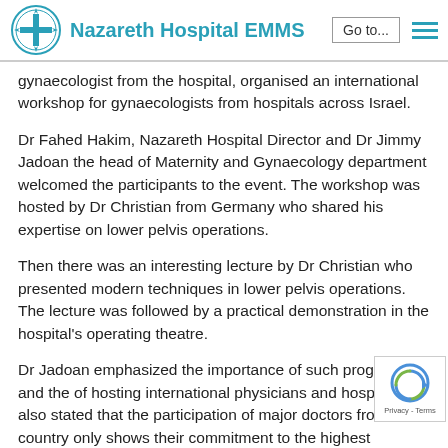Nazareth Hospital EMMS
gynaecologist from the hospital, organised an international workshop for gynaecologists from hospitals across Israel.
Dr Fahed Hakim, Nazareth Hospital Director and Dr Jimmy Jadoan the head of Maternity and Gynaecology department welcomed the participants to the event. The workshop was hosted by Dr Christian from Germany who shared his expertise on lower pelvis operations.
Then there was an interesting lecture by Dr Christian who presented modern techniques in lower pelvis operations. The lecture was followed by a practical demonstration in the hospital's operating theatre.
Dr Jadoan emphasized the importance of such programs and the of hosting international physicians and hospitals. Dr also stated that the participation of major doctors from a the country only shows their commitment to the highest standards of healthcare and the welfare of the community.